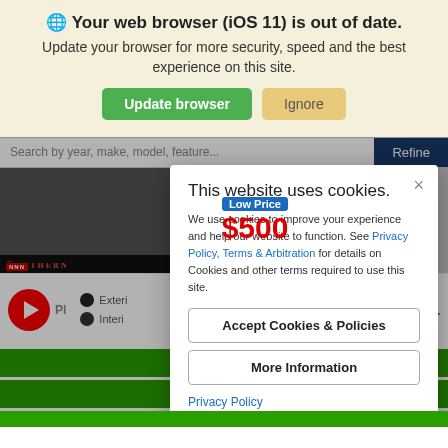Your web browser (iOS 11) is out of date.
Update your browser for more security, speed and the best experience on this site.
[Figure (screenshot): Car dealership website background with search bar, car image, Low Price $500 badge, Show Me The Carfax logo, play button, exterior/interior dot labels, $27,421 price, and green bars]
This website uses cookies.
We use cookies to improve your experience and help our website to function. See Privacy Policy, Terms & Arbitration for details on Cookies and other terms required to use this site.
Accept Cookies & Policies
More Information
Privacy Policy